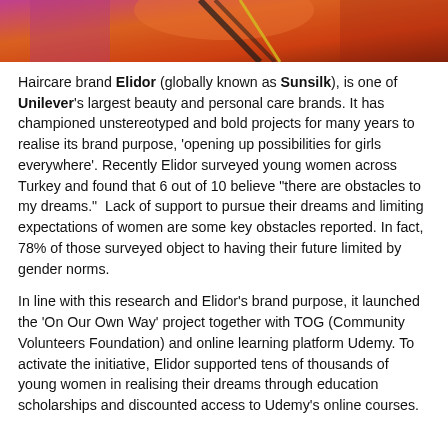[Figure (photo): Top portion of a photo showing a person in orange and black outfit against a pink/purple background, cropped at the top of the page.]
Haircare brand Elidor (globally known as Sunsilk), is one of Unilever's largest beauty and personal care brands. It has championed unstereotyped and bold projects for many years to realise its brand purpose, 'opening up possibilities for girls everywhere'. Recently Elidor surveyed young women across Turkey and found that 6 out of 10 believe "there are obstacles to my dreams."  Lack of support to pursue their dreams and limiting expectations of women are some key obstacles reported. In fact, 78% of those surveyed object to having their future limited by gender norms.
In line with this research and Elidor's brand purpose, it launched the 'On Our Own Way' project together with TOG (Community Volunteers Foundation) and online learning platform Udemy. To activate the initiative, Elidor supported tens of thousands of young women in realising their dreams through education scholarships and discounted access to Udemy's online courses.